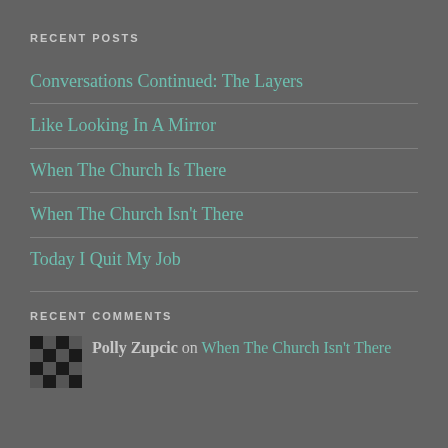RECENT POSTS
Conversations Continued: The Layers
Like Looking In A Mirror
When The Church Is There
When The Church Isn't There
Today I Quit My Job
RECENT COMMENTS
Polly Zupcic on When The Church Isn't There